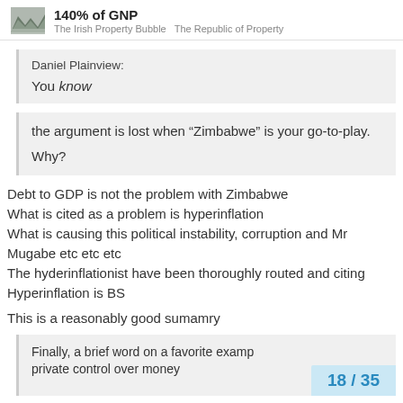140% of GNP | The Irish Property Bubble  The Republic of Property
Daniel Plainview:
You know
the argument is lost when “Zimbabwe” is your go-to-play.
Why?
Debt to GDP is not the problem with Zimbabwe
What is cited as a problem is hyperinflation
What is causing this political instability, corruption and Mr Mugabe etc etc etc
The hyderinflationist have been thoroughly routed and citing Hyperinflation is BS
This is a reasonably good sumamry
Finally, a brief word on a favorite examp… private control over money